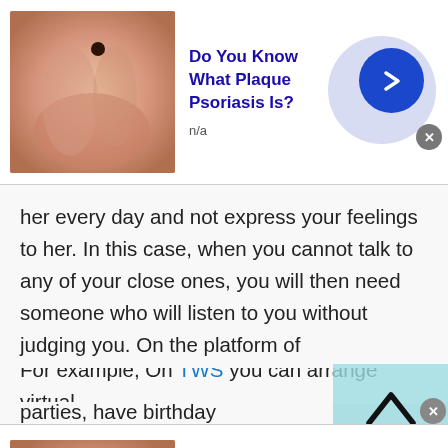[Figure (screenshot): Top advertisement banner with skin condition image, title 'Do You Know What Plaque Psoriasis Is?', subtitle 'n/a', blue arrow button on purple/lavender circle, close X button]
her every day and not express your feelings to her. In this case, when you cannot talk to any of your close ones, you will then need someone who will listen to you without judging you. On the platform of talkwithstranger, you will find many people with whom you can chat. You can chat with random people of Lesotho.
For example, On TWS you can arrange virtual parties, have birthday celebrations, New Year's Eve
[Figure (screenshot): Bottom advertisement banner with skin condition image, title 'Do You Know What Plaque Psoriasis Is?', subtitle 'n/a', blue arrow button on lavender circle]